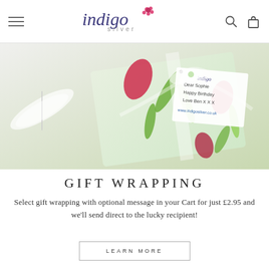indigo silver — navigation header with hamburger menu, logo, search and cart icons
[Figure (photo): Close-up photo of a floral-patterned gift-wrapped package with a white organza ribbon and a gift tag reading 'Dear Sophie, Happy Birthday, Love Ben X X X, www.indigosilver.co.uk']
GIFT WRAPPING
Select gift wrapping with optional message in your Cart for just £2.95 and we'll send direct to the lucky recipient!
LEARN MORE